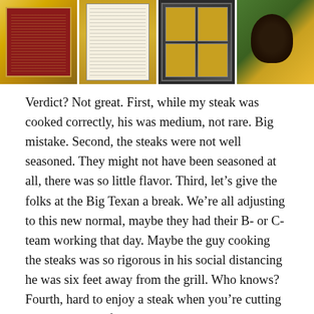[Figure (photo): Four photos in a horizontal strip showing scenes from Big Texan restaurant: yellow wall with sign, framed menu/document, wall of framed items, and a close-up of a steak]
Verdict? Not great. First, while my steak was cooked correctly, his was medium, not rare. Big mistake. Second, the steaks were not well seasoned. They might not have been seasoned at all, there was so little flavor. Third, let’s give the folks at the Big Texan a break. We’re all adjusting to this new normal, maybe they had their B- or C-team working that day. Maybe the guy cooking the steaks was so rigorous in his social distancing he was six feet away from the grill. Who knows? Fourth, hard to enjoy a steak when you’re cutting it with a plastic fork. Just doesn’t seem right. On the plus side, the side of beans was delicious, a good balance of smoky and sweet.
Back on the 40, on to New Mexico, to the desert